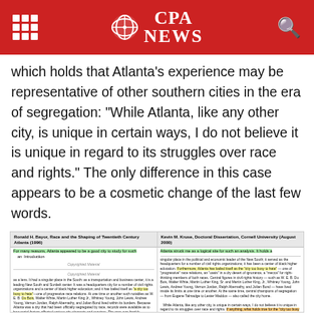CPA NEWS
which holds that Atlanta's experience may be representative of other southern cities in the era of segregation: “While Atlanta, like any other city, is unique in certain ways, I do not believe it is unique in regard to its struggles over race and rights.” The only difference in this case appears to be a cosmetic change of the last few words.
[Figure (screenshot): Side-by-side comparison of two texts: Ronald H. Bayor, Race and the Shaping of Twentieth Century Atlanta (1996) on the left, and Kevin M. Kruse, Doctoral Dissertation, Cornell University (August 2000) on the right, with highlighted passages showing similar or identical text about Atlanta's role in civil rights history.]